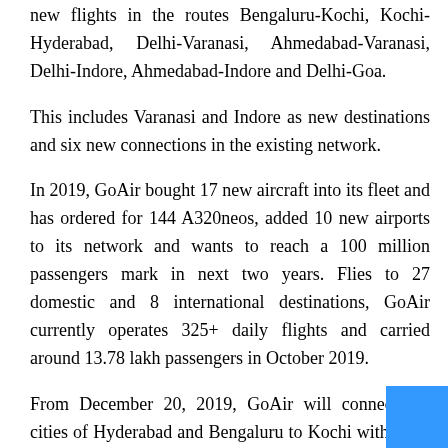new flights in the routes Bengaluru-Kochi, Kochi-Hyderabad, Delhi-Varanasi, Ahmedabad-Varanasi, Delhi-Indore, Ahmedabad-Indore and Delhi-Goa.
This includes Varanasi and Indore as new destinations and six new connections in the existing network.
In 2019, GoAir bought 17 new aircraft into its fleet and has ordered for 144 A320neos, added 10 new airports to its network and wants to reach a 100 million passengers mark in next two years. Flies to 27 domestic and 8 international destinations, GoAir currently operates 325+ daily flights and carried around 13.78 lakh passengers in October 2019.
From December 20, 2019, GoAir will connect the cities of Hyderabad and Bengaluru to Kochi with daily flights. GoAir has also added its second flight from Delhi to Goa